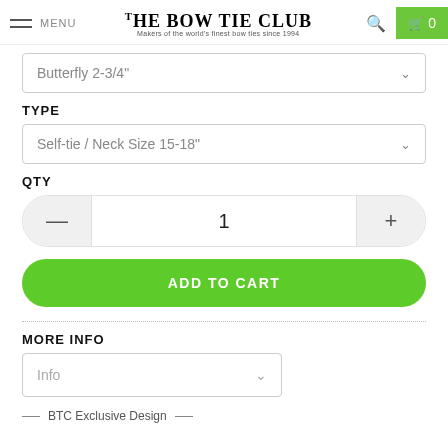THE BOW TIE CLUB — Makers of the world's finest bow ties since 1994
Butterfly 2-3/4"
TYPE
Self-tie / Neck Size 15-18"
QTY
1
ADD TO CART
MORE INFO
Info
— BTC Exclusive Design —